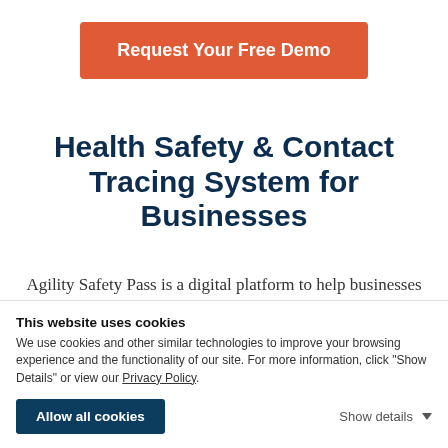Request Your Free Demo
Health Safety & Contact Tracing System for Businesses
Agility Safety Pass is a digital platform to help businesses streamline and manage COVID-19 safety processes with vaccine and test record management, employee self-certification and
This website uses cookies
We use cookies and other similar technologies to improve your browsing experience and the functionality of our site. For more information, click "Show Details" or view our Privacy Policy.
Allow all cookies
Show details